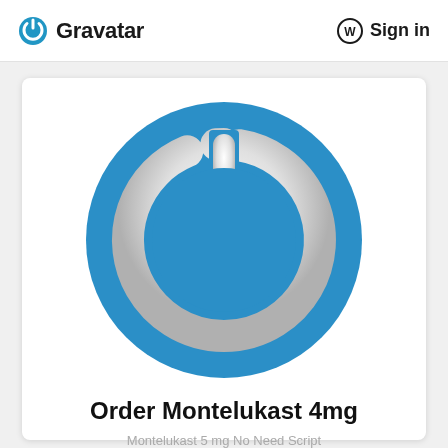Gravatar   Sign in
[Figure (logo): Gravatar power button logo — large blue circle with white 3D power symbol (ring with vertical bar notch at top), centered on white card background]
Order Montelukast 4mg
Montelukast 5 mg No Need Script